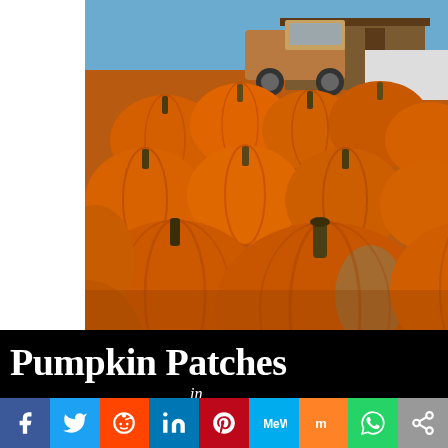[Figure (photo): A large pile of orange pumpkins at a pumpkin patch with an old rusty truck and farm buildings visible in the background.]
Pumpkin Patches in
[Figure (infographic): Social media sharing buttons row: Facebook (blue), Twitter (light blue), Reddit (orange-red), LinkedIn (dark blue), Pinterest (dark red), MeWe (teal), Mix (orange), WhatsApp (green), Share (gray)]